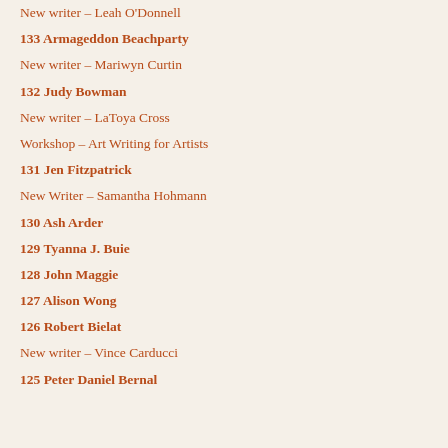New writer – Leah O'Donnell
133 Armageddon Beachparty
New writer – Mariwyn Curtin
132 Judy Bowman
New writer – LaToya Cross
Workshop – Art Writing for Artists
131 Jen Fitzpatrick
New Writer – Samantha Hohmann
130 Ash Arder
129 Tyanna J. Buie
128 John Maggie
127 Alison Wong
126 Robert Bielat
New writer – Vince Carducci
125 Peter Daniel Bernal